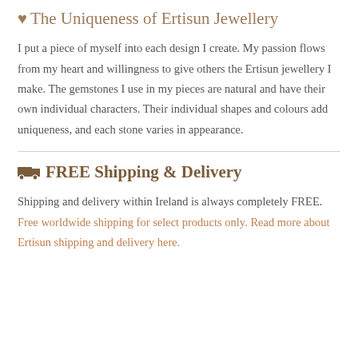🤎 The Uniqueness of Ertisun Jewellery
I put a piece of myself into each design I create. My passion flows from my heart and willingness to give others the Ertisun jewellery I make. The gemstones I use in my pieces are natural and have their own individual characters. Their individual shapes and colours add uniqueness, and each stone varies in appearance.
🚚 FREE Shipping & Delivery
Shipping and delivery within Ireland is always completely FREE. Free worldwide shipping for select products only. Read more about Ertisun shipping and delivery here.